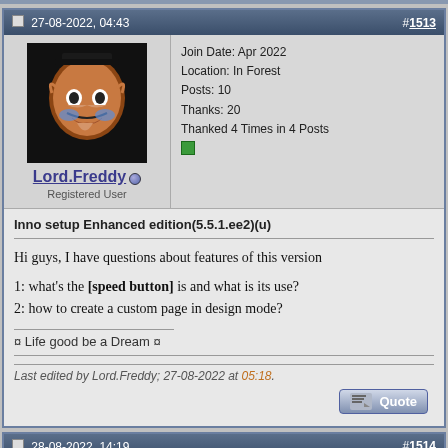27-08-2022, 04:43  #1513
[Figure (photo): Avatar of Lord.Freddy - FNAF animatronic character with top hat and colorful face paint on dark background]
Lord.Freddy (online) Registered User
Join Date: Apr 2022
Location: In Forest
Posts: 10
Thanks: 20
Thanked 4 Times in 4 Posts
Inno setup Enhanced edition(5.5.1.ee2)(u)
Hi guys, I have questions about features of this version
1: what's the [speed button] is and what is its use?
2: how to create a custom page in design mode?
¤ Life good be a Dream ¤
Last edited by Lord.Freddy; 27-08-2022 at 05:18.
28-08-2022, 14:19  #1514
[Figure (photo): Avatar of Cesar82 - Umbrella Corporation logo (red and white umbrella symbol)]
Cesar82 (online) Registered User
Join Date: May 2011
Location: Brazil
Posts: 817
Thanks: 1,355
Thanked 1,761 Times in 594 Posts